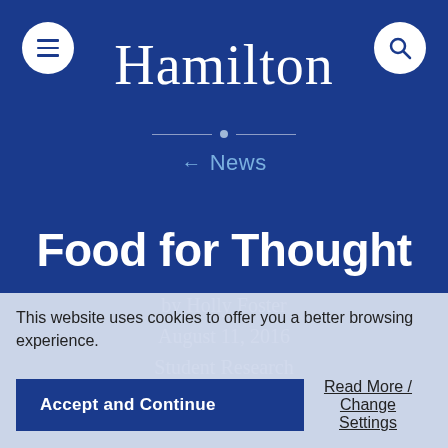Hamilton
← News
Food for Thought
by Holly Foster
August 11, 2016
Student Research
This website uses cookies to offer you a better browsing experience.
Accept and Continue
Read More / Change Settings